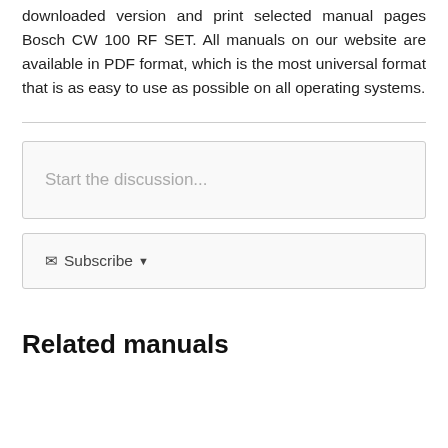downloaded version and print selected manual pages Bosch CW 100 RF SET. All manuals on our website are available in PDF format, which is the most universal format that is as easy to use as possible on all operating systems.
Start the discussion...
Subscribe
Related manuals